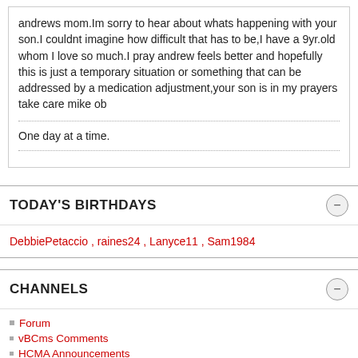andrews mom.Im sorry to hear about whats happening with your son.I couldnt imagine how difficult that has to be,I have a 9yr.old whom I love so much.I pray andrew feels better and hopefully this is just a temporary situation or something that can be addressed by a medication adjustment,your son is in my prayers take care mike ob
One day at a time.
TODAY'S BIRTHDAYS
DebbiePetaccio , raines24 , Lanyce11 , Sam1984
CHANNELS
Forum
vBCms Comments
HCMA Announcements
HCMA General Forums
HCMA Discussion
General Discussion (non-health related)
Ask the HCMA!
Get The Word Out!
Screening our Youth for HCM